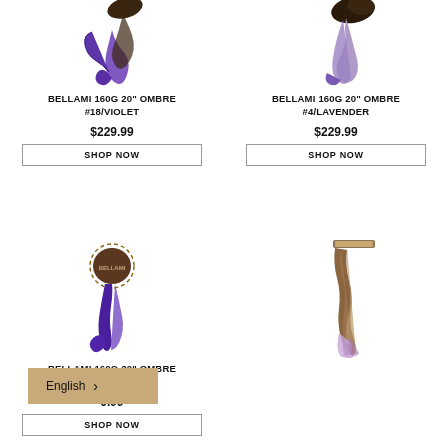[Figure (photo): Hair extension product #18/Violet ombre, dark brown to purple, spiral curl shape]
BELLAMI 160G 20" OMBRE #18/VIOLET
$229.99
SHOP NOW
[Figure (photo): Hair extension product #4/Lavender ombre, dark brown to lavender purple]
BELLAMI 160G 20" OMBRE #4/LAVENDER
$229.99
SHOP NOW
[Figure (photo): Hair extension product #4/Violet ombre with round clip top, dark brown to purple curly]
BELLAMI 160G 20" OMBRE #4/VIOLET
$229.99
SHOP NOW
[Figure (photo): Hair extension product with wavy style, brown to lavender ombre]
English >